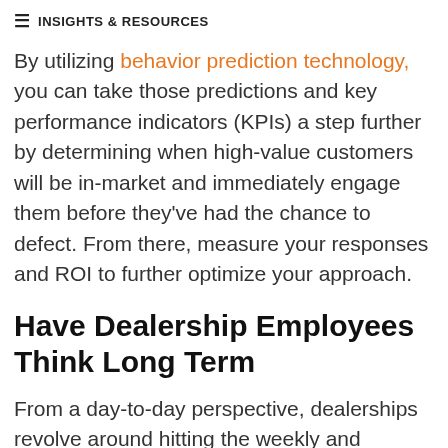INSIGHTS & RESOURCES
By utilizing behavior prediction technology, you can take those predictions and key performance indicators (KPIs) a step further by determining when high-value customers will be in-market and immediately engage them before they've had the chance to defect. From there, measure your responses and ROI to further optimize your approach.
Have Dealership Employees Think Long Term
From a day-to-day perspective, dealerships revolve around hitting the weekly and